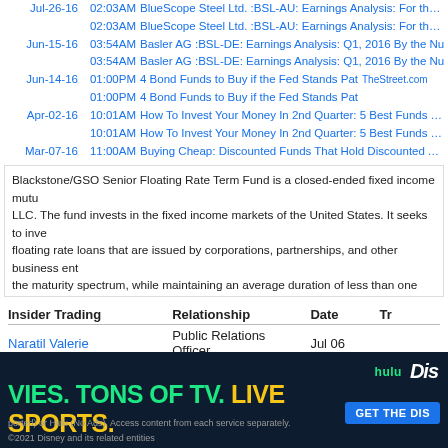Jul-26-16 02:03AM BlueScope Steel Ltd. :BSL-AU: Earnings Analysis: For the si...
02:03AM BlueScope Steel Ltd. :BSL-AU: Earnings Analysis: For the si...
Jun-15-16 03:54AM Basler AG :BSL-DE: Earnings Analysis: Q1, 2016 By the Nu...
03:54AM Basler AG :BSL-DE: Earnings Analysis: Q1, 2016 By the Nu...
Jun-14-16 01:00PM 4 Bond Funds to Buy if the Fed Stands Pat TheStreet.com
01:00PM 4 Bond Funds to Buy if the Fed Stands Pat
Apr-02-16 10:01AM How To Invest Your Money In 2nd Quarter: 5 Best Funds To B...
10:01AM How To Invest Your Money In 2nd Quarter: 5 Best Funds To B...
Mar-07-16 11:00AM Buying Cheap: Discounted Funds That Hold Discounted Asse...
Blackstone/GSO Senior Floating Rate Term Fund is a closed-ended fixed income mutu... LLC. The fund invests in the fixed income markets of the United States. It seeks to inve... floating rate loans that are issued by corporations, partnerships, and other business ent... the maturity spectrum, while maintaining an average duration of less than one year. It e... companies which offer attractive risk / return characteristics to create its portfolio. The f... Senior Floating Rate Term Fund was formed on March 4, 2010 and is domiciled in the U...
| Insider Trading | Relationship | Date | Tr... |
| --- | --- | --- | --- |
| Naratil Valerie | Public Relations Officer | Jul 06 |  |
open in yahoo |
[Figure (other): Disney/Hulu advertisement banner: MOVIES. TONS OF TV. LIVE SPORTS. GET THE DIS... hulu Disney logos. Footer: (ported) or Hulu (No Ads). Access content from each service separately. ©2021 Disney and its related entities]